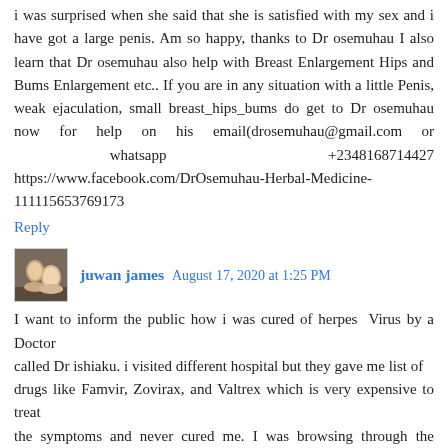i was surprised when she said that she is satisfied with my sex and i have got a large penis. Am so happy, thanks to Dr osemuhau I also learn that Dr osemuhau also help with Breast Enlargement Hips and Bums Enlargement etc.. If you are in any situation with a little Penis, weak ejaculation, small breast_hips_bums do get to Dr osemuhau now for help on his email(drosemuhau@gmail.com or whatsapp +2348168714427 https://www.facebook.com/DrOsemuhau-Herbal-Medicine-111115653769173
Reply
juwan james  August 17, 2020 at 1:25 PM
I want to inform the public how i was cured of herpes  Virus by a Doctor called Dr ishiaku. i visited different hospital but they gave me list of drugs like Famvir, Zovirax, and Valtrex which is very expensive to treat the symptoms and never cured me. I was browsing through the Internet